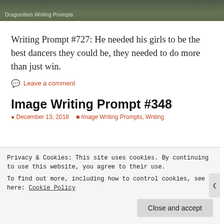[Figure (photo): Dark textured background image with 'Dragonition Writing Prompts' label overlay]
Writing Prompt #727: He needed his girls to be the best dancers they could be, they needed to do more than just win.
💬 Leave a comment
Image Writing Prompt #348
December 13, 2018   Image Writing Prompts, Writing
Privacy & Cookies: This site uses cookies. By continuing to use this website, you agree to their use.
To find out more, including how to control cookies, see here: Cookie Policy